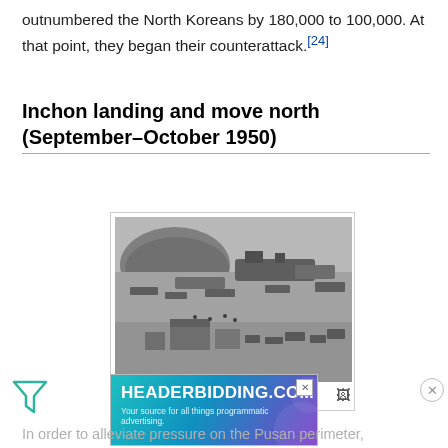outnumbered the North Koreans by 180,000 to 100,000. At that point, they began their counterattack.[24]
Inchon landing and move north (September–October 1950)
[Figure (photo): Black and white aerial photograph of American forces landing on Inchon harbor, showing ships, landing craft, and military vehicles near the shore with a hill in the background.]
American forces land on Inchon harbor one day after the Battle of
In order to alleviate pressure on the Pusan perimeter,